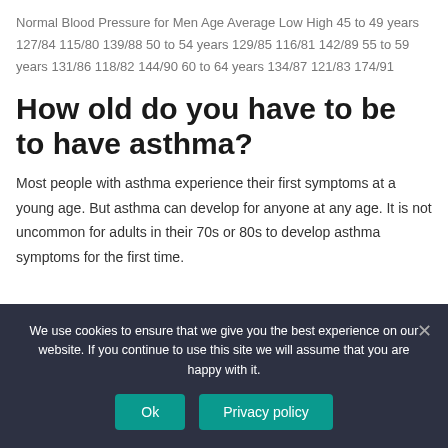Normal Blood Pressure for Men Age Average Low High 45 to 49 years 127/84 115/80 139/88 50 to 54 years 129/85 116/81 142/89 55 to 59 years 131/86 118/82 144/90 60 to 64 years 134/87 121/83 174/91
How old do you have to be to have asthma?
Most people with asthma experience their first symptoms at a young age. But asthma can develop for anyone at any age. It is not uncommon for adults in their 70s or 80s to develop asthma symptoms for the first time.
We use cookies to ensure that we give you the best experience on our website. If you continue to use this site we will assume that you are happy with it.